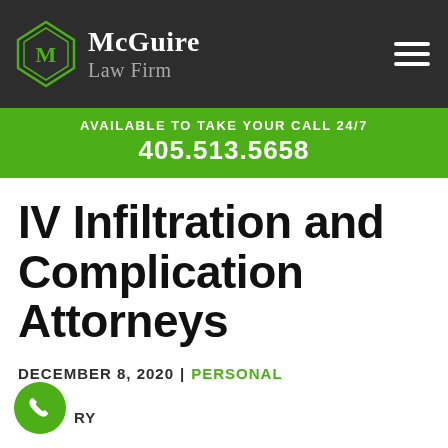[Figure (logo): McGuire Law Firm logo with green diamond M icon and firm name in white/gray serif font on dark background]
AVAILABLE TO TAKE YOUR CALL 24/7
405.513.5658
IV Infiltration and Complication Attorneys
DECEMBER 8, 2020 | PERSONAL INJURY